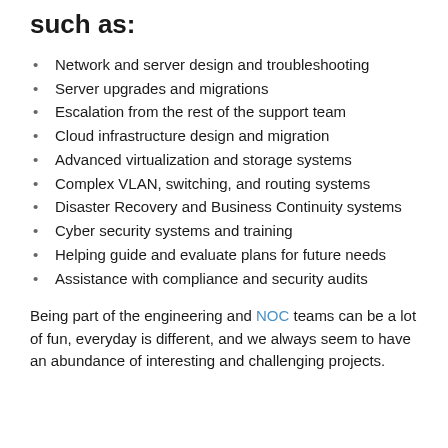such as:
Network and server design and troubleshooting
Server upgrades and migrations
Escalation from the rest of the support team
Cloud infrastructure design and migration
Advanced virtualization and storage systems
Complex VLAN, switching, and routing systems
Disaster Recovery and Business Continuity systems
Cyber security systems and training
Helping guide and evaluate plans for future needs
Assistance with compliance and security audits
Being part of the engineering and NOC teams can be a lot of fun, everyday is different, and we always seem to have an abundance of interesting and challenging projects.